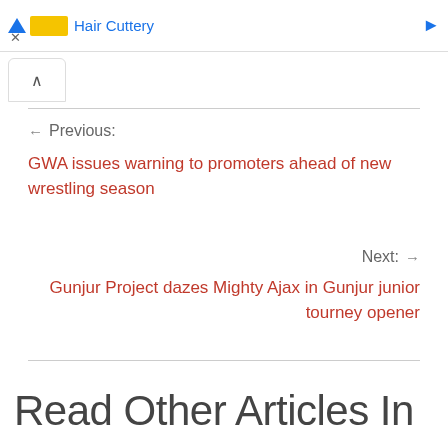[Figure (other): Advertisement banner with Hair Cuttery logo and blue triangle icon with yellow rectangle, close button X below]
^
← Previous:
GWA issues warning to promoters ahead of new wrestling season
Next: →
Gunjur Project dazes Mighty Ajax in Gunjur junior tourney opener
Read Other Articles In